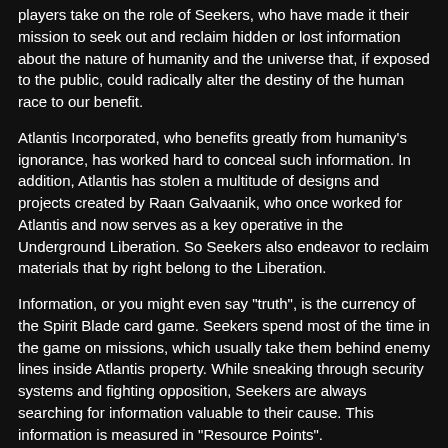players take on the role of Seekers, who have made it their mission to seek out and reclaim hidden or lost information about the nature of humanity and the universe that, if exposed to the public, could radically alter the destiny of the human race to our benefit.
Atlantis Incorporated, who benefits greatly from humanity's ignorance, has worked hard to conceal such information. In addition, Atlantis has stolen a multitude of designs and projects created by Raan Galvaanik, who once worked for Atlantis and now serves as a key operative in the Underground Liberation. So Seekers also endeavor to reclaim materials that by right belong to the Liberation.
Information, or you might even say "truth", is the currency of the Spirit Blade card game. Seekers spend most of the time in the game on missions, which usually take them behind enemy lines inside Atlantis property. While sneaking through security systems and fighting opposition, Seekers are always searching for information valuable to their cause. This information is measured in "Resource Points".